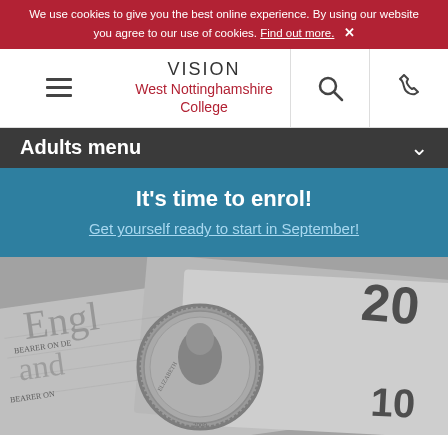We use cookies to give you the best online experience. By using our website you agree to our use of cookies. Find out more. ✕
[Figure (logo): Vision West Nottinghamshire College logo with hamburger menu, search icon, and phone icon]
Adults menu
It's time to enrol!
Get yourself ready to start in September!
[Figure (photo): Black and white close-up photograph of British coins and banknotes (£20 and £10 notes visible)]